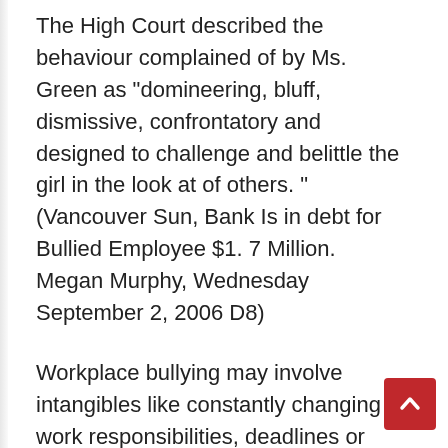The High Court described the behaviour complained of by Ms. Green as "domineering, bluff, dismissive, confrontatory and designed to challenge and belittle the girl in the look at of others. " (Vancouver Sun, Bank Is in debt for Bullied Employee $1. 7 Million. Megan Murphy, Wednesday September 2, 2006 D8)
Workplace bullying may involve intangibles like constantly changing work responsibilities, deadlines or even priorities. It may well involve someone consuming public credit for joint projects. That may involve asking for input and and then ignoring it. In some cases there can be embarrassing scenes before co-workers, or becoming spoken to within a condescending or belittling manner. The purpose, and it is an